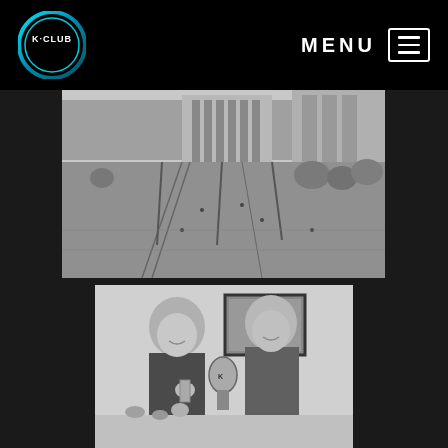K-CLUB | MENU
[Figure (photo): Black and white aerial/elevated view of a city square or plaza with trees, pedestrians, tram tracks, and classical buildings in the background]
[Figure (photo): Black and white photo of two blonde women smiling and holding drinks glasses, with a K-Club event backdrop behind them]